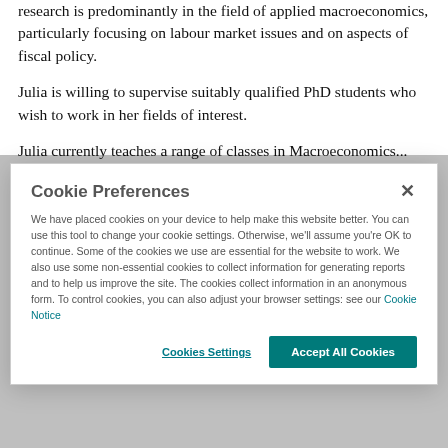research is predominantly in the field of applied macroeconomics, particularly focusing on labour market issues and on aspects of fiscal policy.
Julia is willing to supervise suitably qualified PhD students who wish to work in her fields of interest.
Julia currently teaches a range of classes in Macroeconomics...
Cookie Preferences
We have placed cookies on your device to help make this website better. You can use this tool to change your cookie settings. Otherwise, we'll assume you're OK to continue. Some of the cookies we use are essential for the website to work. We also use some non-essential cookies to collect information for generating reports and to help us improve the site. The cookies collect information in an anonymous form. To control cookies, you can also adjust your browser settings: see our Cookie Notice